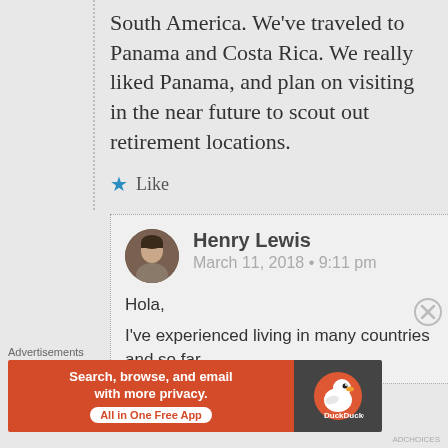South America. We've traveled to Panama and Costa Rica. We really liked Panama, and plan on visiting in the near future to scout out retirement locations.
★ Like
Henry Lewis
March 11, 2018 • 9:11 pm
Hola,
I've experienced living in many countries and so far
Advertisements
[Figure (screenshot): DuckDuckGo advertisement banner: 'Search, browse, and email with more privacy. All in One Free App' on orange background with DuckDuckGo logo on dark background]